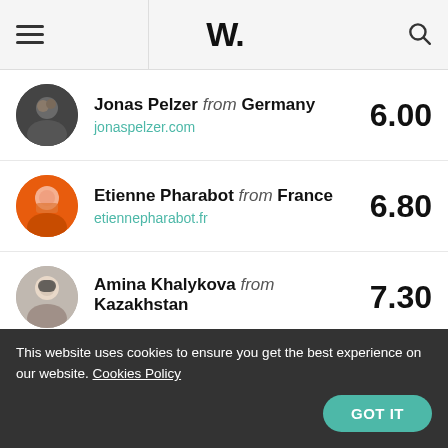W.
Jonas Pelzer from Germany | jonaspelzer.com | 6.00
Etienne Pharabot from France | etiennepharabot.fr | 6.80
Amina Khalykova from Kazakhstan | 7.30
TheRoom. Design Boutique from Ukraine | theroom.boutique | 8.80
Ecompile from Malaysia | 6.00
This website uses cookies to ensure you get the best experience on our website. Cookies Policy  GOT IT